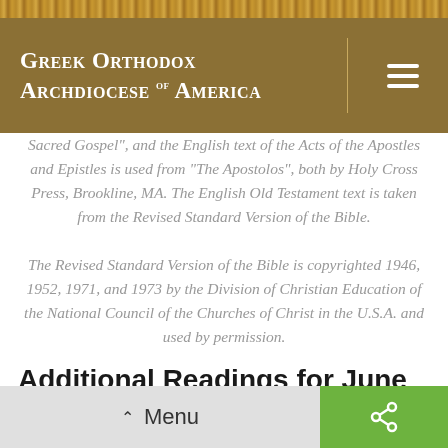Greek Orthodox Archdiocese of America
Sacred Gospel", and the English text of the Acts of the Apostles and Epistles is used from "The Apostolos", both by Holy Cross Press, Brookline, MA. The English Old Testament text is taken from the Revised Standard Version of the Bible. The Revised Standard Version of the Bible is copyrighted 1946, 1952, 1971, and 1973 by the Division of Christian Education of the National Council of the Churches of Christ in the U.S.A. and used by permission.
Additional Readings for June 30,